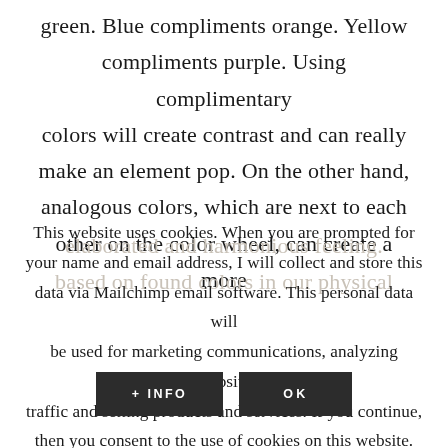green. Blue compliments orange. Yellow compliments purple. Using complimentary colors will create contrast and can really make an element pop. On the other hand, analogous colors, which are next to each other on the color wheel, can create a more
This website uses cookies. When you are prompted for your name and email address, I will collect and store this data via Mailchimp email software. This personal data will be used for marketing communications, analyzing website traffic and selling products and services. If you continue, then you consent to the use of cookies on this website.
+ INFO
OK